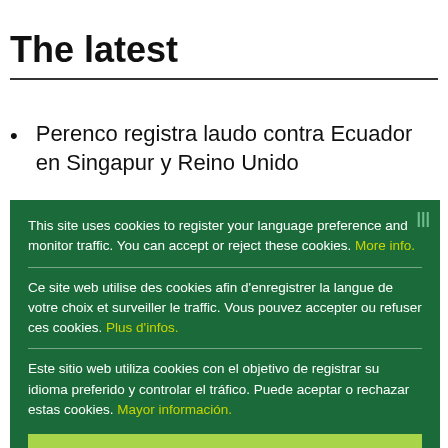The latest
Perenco registra laudo contra Ecuador en Singapur y Reino Unido
This site uses cookies to register your language preference and monitor traffic. You can accept or reject these cookies. More info.
Ce site web utilise des cookies afin d'enregistrer la langue de votre choix et surveiller le traffic. Vous pouvez accepter ou refuser ces cookies. Plus d'infos.
Este sitio web utiliza cookies con el objetivo de registrar su idioma preferido y controlar el tráfico. Puede aceptar o rechazar estas cookies. Mayor información.
Ok
order to pay Lone Star By Kim Arin